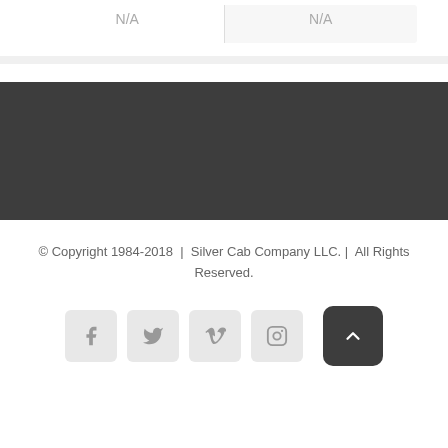| N/A | N/A |
| --- | --- |
© Copyright 1984-2018 | Silver Cab Company LLC. | All Rights Reserved.
[Figure (other): Social media icons: Facebook, Twitter, Vimeo, Instagram, and a back-to-top button]